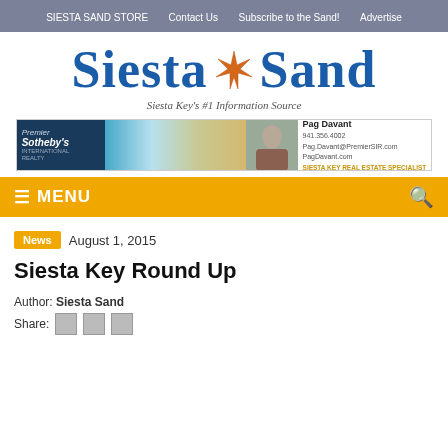SIESTA SAND STORE   Contact Us   Subscribe to the Sand!   Advertise
[Figure (logo): Siesta Sand logo with starfish, tagline: Siesta Key's #1 Information Source]
[Figure (infographic): Premier Sotheby's International Realty ad banner with beach photo, agent photo of Pag Davant, contact info: 941.356.4002, Pag.Davant@PremierSIR.com, PagDavant.com, Siesta Key Real Estate Specialist]
MENU
News   August 1, 2015
Siesta Key Round Up
Author: Siesta Sand
Share: